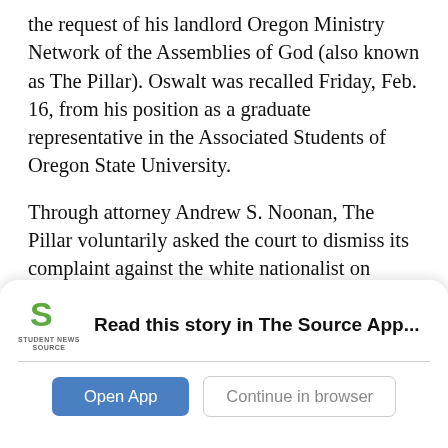the request of his landlord Oregon Ministry Network of the Assemblies of God (also known as The Pillar). Oswalt was recalled Friday, Feb. 16, from his position as a graduate representative in the Associated Students of Oregon State University.
Through attorney Andrew S. Noonan, The Pillar voluntarily asked the court to dismiss its complaint against the white nationalist on Monday, Feb. 19. Judge Matthew J. Donohue dismissed the matter on Tuesday, Feb. 20. Oswalt was set to appear in court on
[Figure (logo): Student News Source logo — a green stylized 'S' above the text 'STUDENT NEWS SOURCE']
Read this story in The Source App...
Open App | Continue in browser